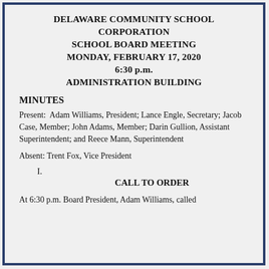DELAWARE COMMUNITY SCHOOL CORPORATION SCHOOL BOARD MEETING MONDAY, FEBRUARY 17, 2020 6:30 p.m. ADMINISTRATION BUILDING
MINUTES
Present:  Adam Williams, President; Lance Engle, Secretary; Jacob Case, Member; John Adams, Member; Darin Gullion, Assistant Superintendent; and Reece Mann, Superintendent
Absent: Trent Fox, Vice President
I.
CALL TO ORDER
At 6:30 p.m. Board President, Adam Williams, called